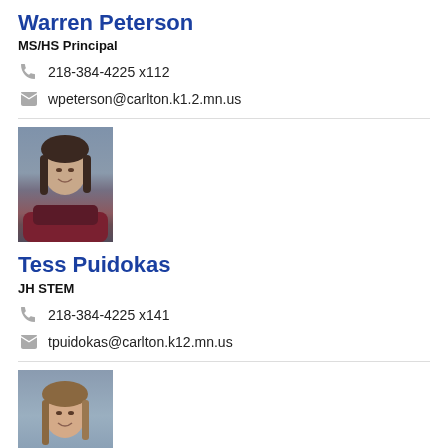Warren Peterson
MS/HS Principal
218-384-4225 x112
wpeterson@carlton.k1.2.mn.us
[Figure (photo): Portrait photo of Tess Puidokas, woman with dark brown hair, wearing maroon top, against grey background]
Tess Puidokas
JH STEM
218-384-4225 x141
tpuidokas@carlton.k12.mn.us
[Figure (photo): Portrait photo of a woman with light brown hair wearing a blue/grey top, against grey background]